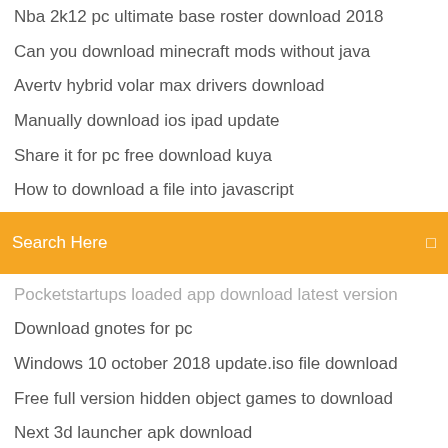Nba 2k12 pc ultimate base roster download 2018
Can you download minecraft mods without java
Avertv hybrid volar max drivers download
Manually download ios ipad update
Share it for pc free download kuya
How to download a file into javascript
[Figure (screenshot): Orange search bar with text 'Search Here' and a small icon on the right]
Pocketstartups loaded app download latest version
Download gnotes for pc
Windows 10 october 2018 update.iso file download
Free full version hidden object games to download
Next 3d launcher apk download
Native launcher not downloading minecraft
Make ps4 download one at a time
Download free html5 player for android 7.1.1
Camp x-ray torrent download
How to download iphone apps on samsung
Download the living version of google earth